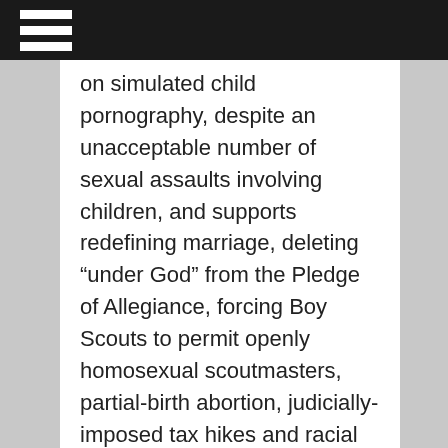on simulated child pornography, despite an unacceptable number of sexual assaults involving children, and supports redefining marriage, deleting “under God” from the Pledge of Allegiance, forcing Boy Scouts to permit openly homosexual scoutmasters, partial-birth abortion, judicially-imposed tax hikes and racial quotas in college admissions.
And then there is the e-mail from Lionel Jefferson bringing race into